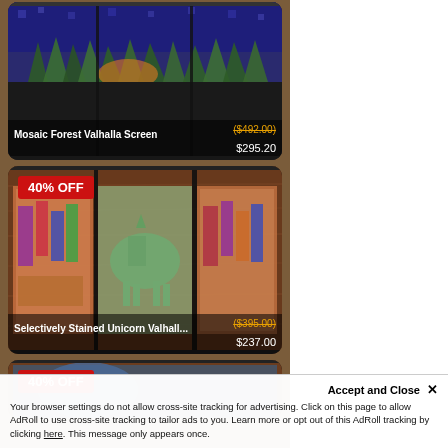[Figure (photo): Product card: Mosaic Forest Valhalla Screen artwork panel with price overlay. Original price ($492.00) in orange strikethrough, sale price $295.20 in white.]
[Figure (photo): Product card: Selectively Stained Unicorn Valhall... artwork panel with 40% OFF badge. Original price ($395.00) in orange strikethrough, sale price $237.00 in white.]
[Figure (photo): Product card: Partial view of third artwork panel with 40% OFF badge, image cut off at page bottom.]
Accept and Close ×
Your browser settings do not allow cross-site tracking for advertising. Click on this page to allow AdRoll to use cross-site tracking to tailor ads to you. Learn more or opt out of this AdRoll tracking by clicking here. This message only appears once.